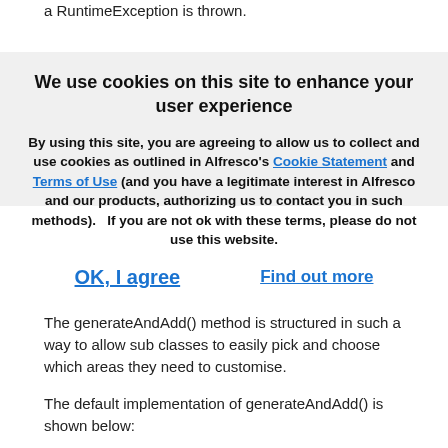a RuntimeException is thrown.
We use cookies on this site to enhance your user experience
By using this site, you are agreeing to allow us to collect and use cookies as outlined in Alfresco's Cookie Statement and Terms of Use (and you have a legitimate interest in Alfresco and our products, authorizing us to contact you in such methods).   If you are not ok with these terms, please do not use this website.
OK, I agree
Find out more
The generateAndAdd() method is structured in such a way to allow sub classes to easily pick and choose which areas they need to customise.
The default implementation of generateAndAdd() is shown below: